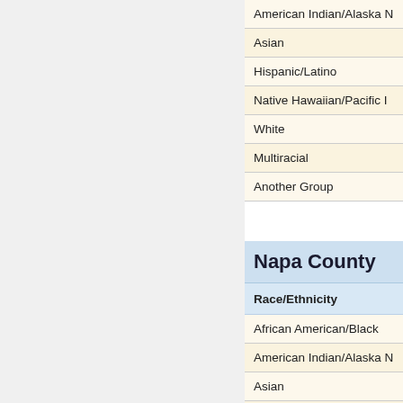| Race/Ethnicity |
| --- |
| American Indian/Alaska N... |
| Asian |
| Hispanic/Latino |
| Native Hawaiian/Pacific I... |
| White |
| Multiracial |
| Another Group |
| Napa County | Race/Ethnicity |
| --- | --- |
| African American/Black |
| American Indian/Alaska N... |
| Asian |
| Hispanic/Latino |
| Native Hawaiian/Pacific... |